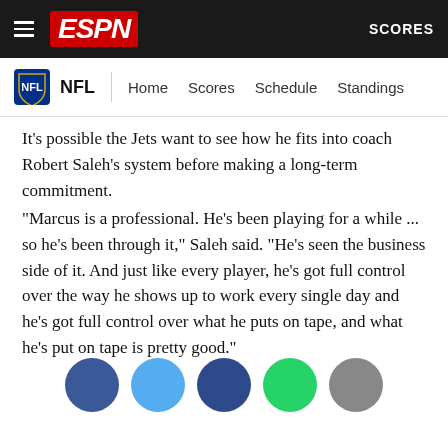ESPN — NFL | Home Scores Schedule Standings | SCORES
It's possible the Jets want to see how he fits into coach Robert Saleh's system before making a long-term commitment.
"Marcus is a professional. He's been playing for a while ... so he's been through it," Saleh said. "He's seen the business side of it. And just like every player, he's got full control over the way he shows up to work every single day and he's got full control over what he puts on tape, and what he's put on tape is pretty good."
[Figure (infographic): Row of five social sharing buttons: Facebook (dark blue circle), Twitter (light blue circle), Messenger (dark blue circle), WhatsApp (green circle), More (grey circle)]